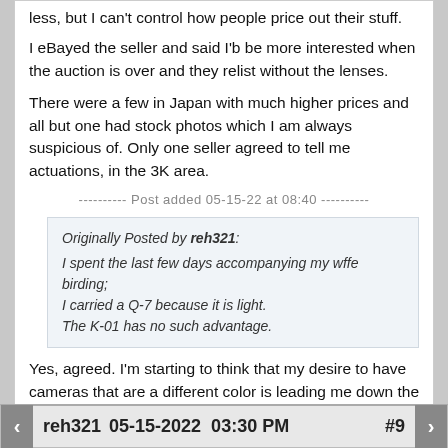less, but I can't control how people price out their stuff.
I eBayed the seller and said I'b be more interested when the auction is over and they relist without the lenses.
There were a few in Japan with much higher prices and all but one had stock photos which I am always suspicious of. Only one seller agreed to tell me actuations, in the 3K area.
---------- Post added 05-15-22 at 08:40 ----------
Originally Posted by reh321:
I spent the last few days accompanying my wffe birding;
I carried a Q-7 because it is light.
The K-01 has no such advantage.
Yes, agreed. I'm starting to think that my desire to have cameras that are a different color is leading me down the wrong path. I had a black K-01 (used with a separately bought 40XS) and I hated it. Got it on eBay with 8 actuations for $322, sold it for ~ same with ~ 40 actuations.
REPLY
reh321 05-15-2022 03:30 PM #9